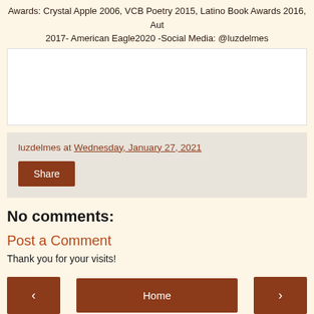Awards: Crystal Apple 2006, VCB Poetry 2015, Latino Book Awards 2016, Aut 2017- American Eagle2020 -Social Media: @luzdelmes
[Figure (other): White rectangular image placeholder area]
luzdelmes at Wednesday, January 27, 2021
Share
No comments:
Post a Comment
Thank you for your visits!
‹  Home  ›
View web version